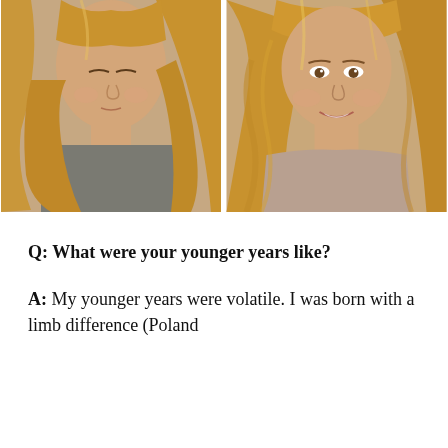[Figure (photo): Two side-by-side selfie photos of a blonde woman. Left photo: woman looking down, wearing a grey top, hair hanging straight. Right photo: same woman looking forward with a smile, hair styled with waves, wearing a beige/grey top.]
Q: What were your younger years like?
A: My younger years were volatile. I was born with a limb difference (Poland